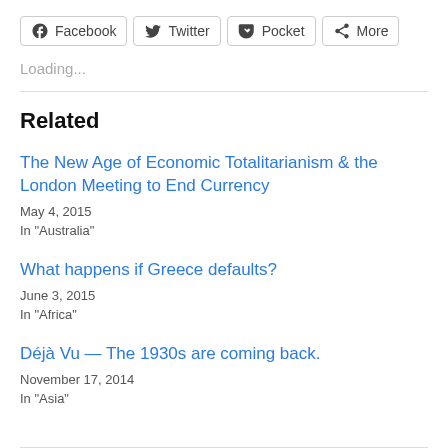[Figure (other): Social share buttons: Facebook, Twitter, Pocket, More]
Loading...
Related
The New Age of Economic Totalitarianism & the London Meeting to End Currency
May 4, 2015
In "Australia"
What happens if Greece defaults?
June 3, 2015
In "Africa"
Déjà Vu — The 1930s are coming back.
November 17, 2014
In "Asia"